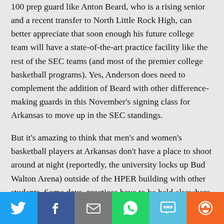100 prep guard like Anton Beard, who is a rising senior and a recent transfer to North Little Rock High, can better appreciate that soon enough his future college team will have a state-of-the-art practice facility like the rest of the SEC teams (and most of the premier college basketball programs). Yes, Anderson does need to complement the addition of Beard with other difference-making guards in this November's signing class for Arkansas to move up in the SEC standings.

But it's amazing to think that men's and women's basketball players at Arkansas don't have a place to shoot around at night (reportedly, the university locks up Bud Walton Arena) outside of the HPER building with other students. Some days, practices have to be held elsewhere than the Bud. The powers that be turned old Barnhill over to gymnastics, so that's no longer an
[Figure (infographic): Social sharing bar with buttons for Twitter, Facebook, Email, WhatsApp, SMS, and More]